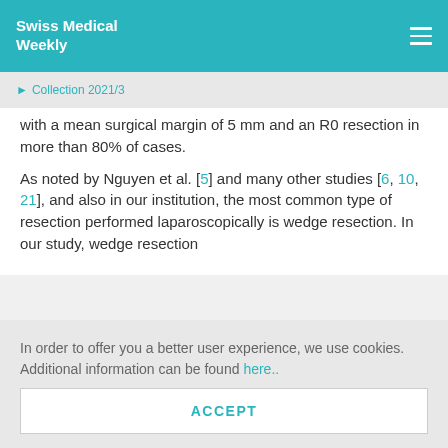Swiss Medical Weekly
Collection 2021/3
with a mean surgical margin of 5 mm and an R0 resection in more than 80% of cases.
As noted by Nguyen et al. [5] and many other studies [6, 10, 21], and also in our institution, the most common type of resection performed laparoscopically is wedge resection. In our study, wedge resection
In order to offer you a better user experience, we use cookies. Additional information can be found here..